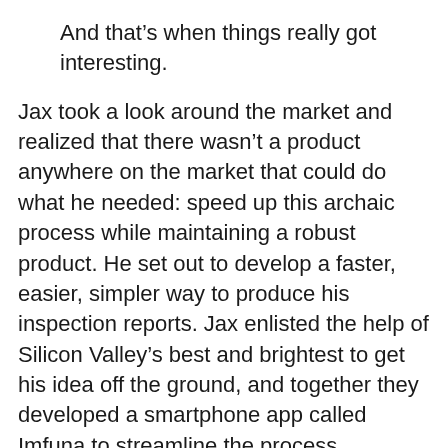And that's when things really got interesting.
Jax took a look around the market and realized that there wasn't a product anywhere on the market that could do what he needed: speed up this archaic process while maintaining a robust product. He set out to develop a faster, easier, simpler way to produce his inspection reports. Jax enlisted the help of Silicon Valley's best and brightest to get his idea off the ground, and together they developed a smartphone app called Imfuna to streamline the process.
That's when things really got interesting.
The Proptech App with